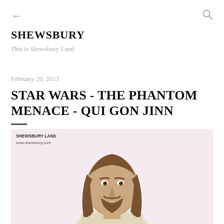← (back) | (search)
SHEWSBURY
This is Shewsbury Land
February 20, 2013
STAR WARS - THE PHANTOM MENACE - QUI GON JINN
[Figure (photo): Close-up photo of a Qui-Gon Jinn action figure from Star Wars The Phantom Menace, showing the head and upper body with long brown hair and beard, against a light pink/lavender background. Watermark reads SHEWSBURY LAND www.shewsbury.com]